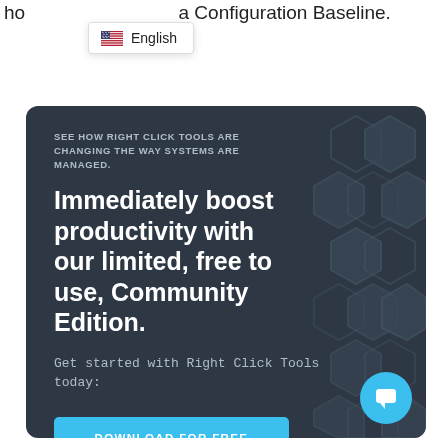ho... a Configuration Baseline.
[Figure (screenshot): Language selector dropdown showing a US flag and 'English' text]
[Figure (infographic): Dark blue-grey promotional card with hexagon background pattern. Contains eyebrow text 'SEE HOW RIGHT CLICK TOOLS ARE CHANGING THE WAY SYSTEMS ARE MANAGED.', headline 'Immediately boost productivity with our limited, free to use, Community Edition.', subtext 'Get started with Right Click Tools today:', a cyan 'DOWNLOAD FOR FREE' button, and a cyan chat bubble icon in the bottom right.]